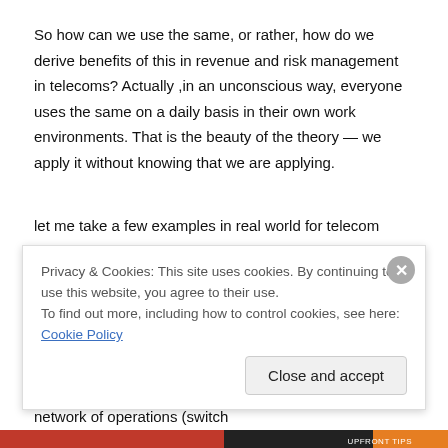So how can we use the same, or rather, how do we derive benefits of this in revenue and risk management in telecoms? Actually ,in an unconscious way, everyone uses the same on a daily basis in their own work environments. That is the beauty of the theory — we apply it without knowing that we are applying.
let me take a few examples in real world for telecom operations:
1. Launch of a new product (calling card, tariff plan, service, etc.)
2. Festive days of a year
3. Installation of a new element in the network of operations (switch
Privacy & Cookies: This site uses cookies. By continuing to use this website, you agree to their use.
To find out more, including how to control cookies, see here: Cookie Policy